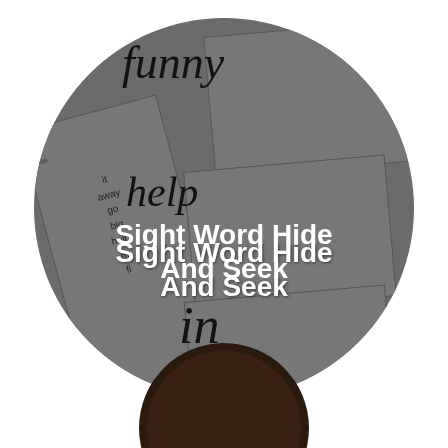[Figure (illustration): A large dark grey circle containing overlapping flash cards with sight words (funny, help, in, it, away, go, big, help, etc.). Overlaid white text reads 'Sight Word Hide And Seek'. Below the circle, the word 'it' appears in italic. A partial dark brown circle is visible at the bottom of the page.]
Sight Word Hide And Seek